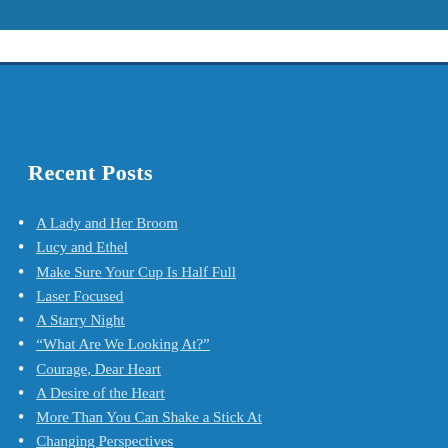Recent Posts
A Lady and Her Broom
Lucy and Ethel
Make Sure Your Cup Is Half Full
Laser Focused
A Starry Night
“What Are We Looking At?”
Courage, Dear Heart
A Desire of the Heart
More Than You Can Shake a Stick At
Changing Perspectives
The Gift of Photography